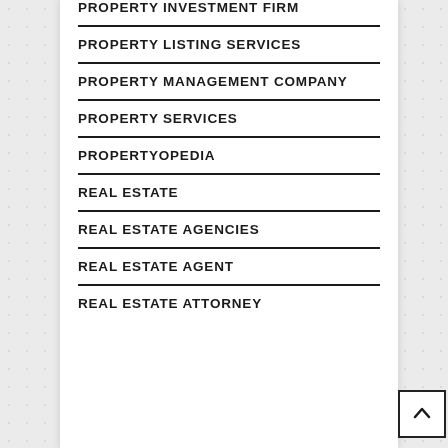PROPERTY INVESTMENT FIRM
PROPERTY LISTING SERVICES
PROPERTY MANAGEMENT COMPANY
PROPERTY SERVICES
PROPERTYOPEDIA
REAL ESTATE
REAL ESTATE AGENCIES
REAL ESTATE AGENT
REAL ESTATE ATTORNEY